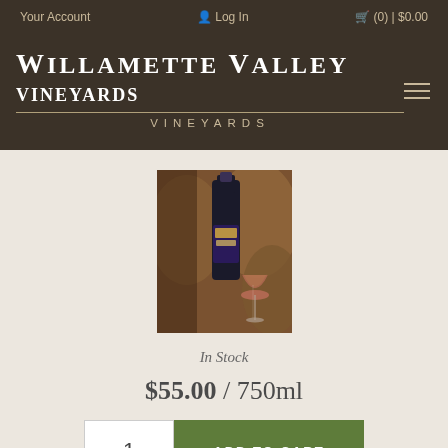Your Account | Log In | (0) | $0.00
WILLAMETTE VALLEY VINEYARDS
[Figure (photo): Wine bottle with label next to a wine glass, wooden barrels in background]
In Stock
$55.00 / 750ml
1  ADD TO CART